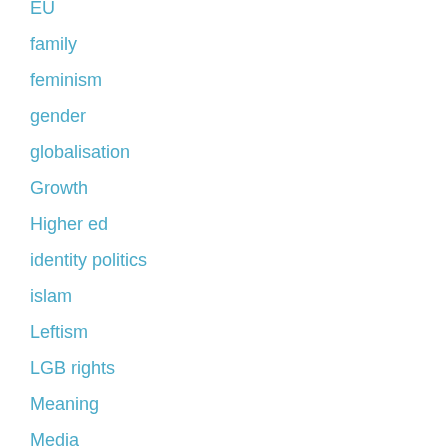EU
family
feminism
gender
globalisation
Growth
Higher ed
identity politics
islam
Leftism
LGB rights
Meaning
Media
motherhood